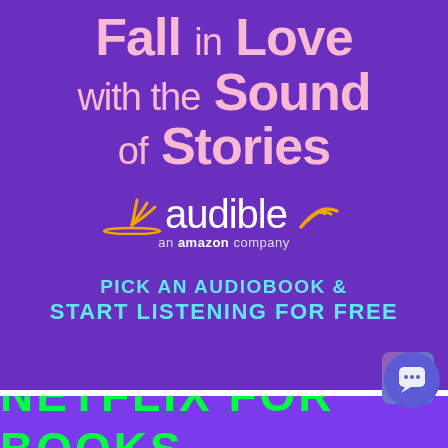[Figure (illustration): Audible advertisement banner with purple background. Large pink text reads 'Fall in Love with the Sound of Stories'. Audible logo with orange signal icon and tagline 'an amazon company'. Cyan text reads 'PICK AN AUDIOBOOK & START LISTENING FOR FREE'.]
NETFLIX FOR BOOKS (partially visible at bottom)